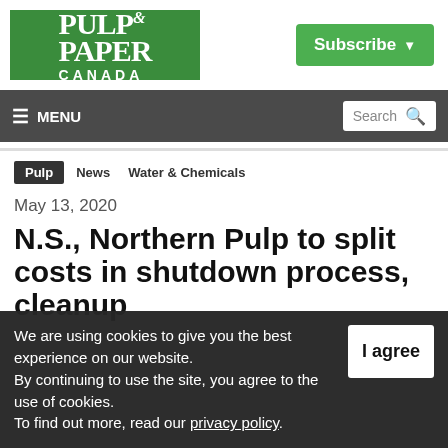[Figure (logo): Pulp & Paper Canada logo — green background with white serif text reading PULP & PAPER CANADA]
Subscribe ▾
≡ MENU    Search 🔍
Pulp  News  Water & Chemicals
May 13, 2020
N.S., Northern Pulp to split costs in shutdown process, cleanup
We are using cookies to give you the best experience on our website.
By continuing to use the site, you agree to the use of cookies.
To find out more, read our privacy policy.
I agree